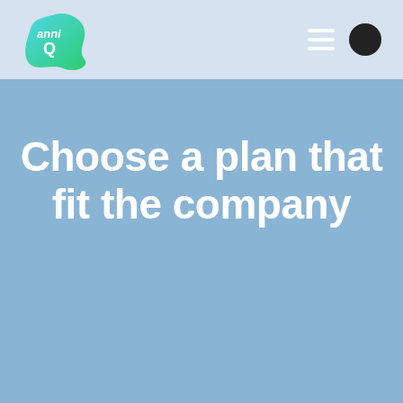AnniQ logo, hamburger menu, user icon
Choose a plan that fit the company